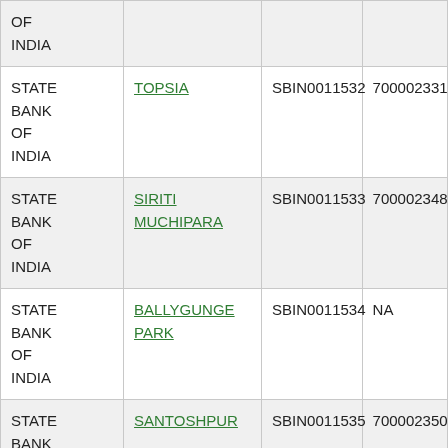| Bank | Branch | IFSC | MICR |
| --- | --- | --- | --- |
| STATE BANK OF INDIA |  |  |  |
| STATE BANK OF INDIA | TOPSIA | SBIN0011532 | 700002331 |
| STATE BANK OF INDIA | SIRITI MUCHIPARA | SBIN0011533 | 700002348 |
| STATE BANK OF INDIA | BALLYGUNGE PARK | SBIN0011534 | NA |
| STATE BANK OF INDIA | SANTOSHPUR | SBIN0011535 | 700002350 |